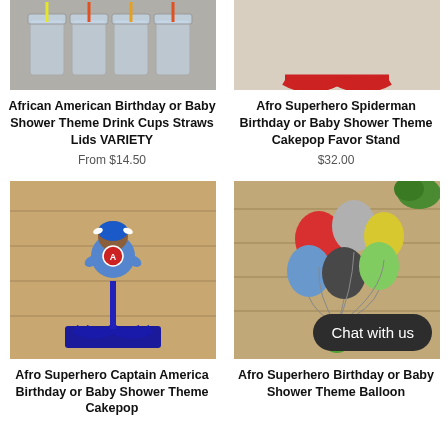[Figure (photo): Transparent drink cups with colorful straws and lids on a table]
African American Birthday or Baby Shower Theme Drink Cups Straws Lids VARIETY
From $14.50
[Figure (photo): Red semicircular cakepop favor stand against a wood background]
Afro Superhero Spiderman Birthday or Baby Shower Theme Cakepop Favor Stand
$32.00
[Figure (photo): Blue Captain America afro superhero figurine on a blue cakepop stand]
Afro Superhero Captain America Birthday or Baby Shower Theme Cakepop
[Figure (photo): Colorful balloons with afro superhero figurine, with Chat with us button overlay]
Afro Superhero Birthday or Baby Shower Theme Balloon